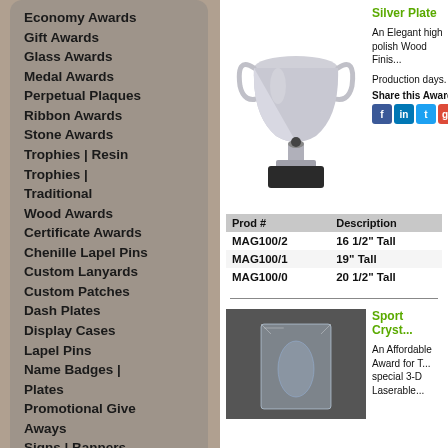Economy Awards
Gift Awards
Glass Awards
Medal Awards
Perpetual Plaques
Ribbon Awards
Stone Awards
Trophies | Resin
Trophies | Traditional
Wood Awards
Certificate Awards
Chenille Lapel Pins
Custom Lanyards
Custom Patches
Dash Plates
Display Cases
Lapel Pins
Name Badges | Plates
Promotional Give Aways
Signs | Banners
Theme Categories
Achievement
Silver Plate
An Elegant high polish Wood Finis...
Production days.
Share this Award:
| Prod # | Description |
| --- | --- |
| MAG100/2 | 16 1/2" Tall |
| MAG100/1 | 19" Tall |
| MAG100/0 | 20 1/2" Tall |
Sport Cryst...
An Affordable Award for T... special 3-D Laserable...
[Figure (photo): Silver trophy cup with two handles on a dark base]
[Figure (photo): Crystal sport award with 3D laser engraving]